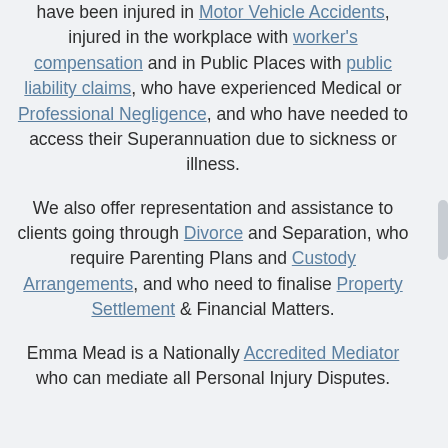have been injured in Motor Vehicle Accidents, injured in the workplace with worker's compensation and in Public Places with public liability claims, who have experienced Medical or Professional Negligence, and who have needed to access their Superannuation due to sickness or illness.
We also offer representation and assistance to clients going through Divorce and Separation, who require Parenting Plans and Custody Arrangements, and who need to finalise Property Settlement & Financial Matters.
Emma Mead is a Nationally Accredited Mediator who can mediate all Personal Injury Disputes.